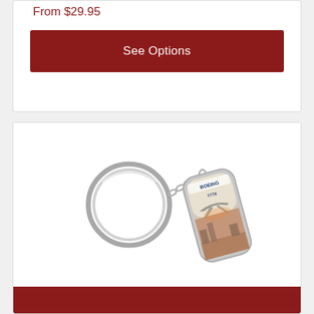From $29.95
See Options
[Figure (photo): Boeing Endeavors 777X Keychain product photo showing a metal keyring attached via chain to a rounded rectangular fob with Boeing 777X aircraft imagery and branding]
Boeing Endeavors 777X Keychain
$9.95